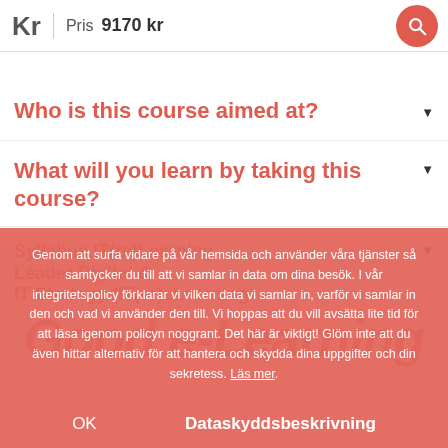Kr  Pris  9170 kr
Who is this course aimed at?
What will you learn by taking this course?
Syllabus  IT(re)Learning  Leader Digital & IT Strategy (IT(re)eLearning
Genom att surfa vidare på vår hemsida och använder våra tjänster så samtycker du till att vi samlar in data om dina besök. I vår integritetspolicy förklarar vi vilken data vi samlar in, varför vi samlar in den och vad vi använder den till. Vi hoppas att du vill avsätta lite tid för att läsa igenom policyn noggrant. Det här är viktigt! Glöm inte att du även hittar alternativ för att hantera och skydda dina uppgifter och din sekretess. Läs mer.
OK
Dataskyddsbeskrivning